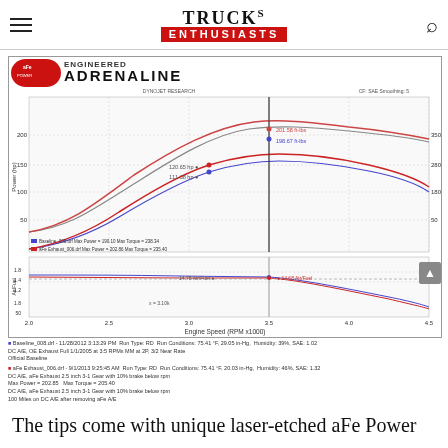TRUCKs ENTHUSIASTS
[Figure (continuous-plot): aFe Power Engineered Adrenaline dyno chart showing Power (hp) vs Engine Speed (RPM x1000) and Torque (ft-lbs) curves for baseline and aFe exhaust runs. Upper chart shows power/torque curves with annotations: 201.58 ft-lbs, 198.67 ft-lbs, 120.65 hp, 111.38 hp. Legend: Baseline_008.drf Max Power = 190.10, Max Torque = 238.34; aFe Exhaust_006.drf Max Power = 202.86, Max Torque = 235.40. Lower chart shows Air/Fuel ratio vs Engine Speed with annotations: 14.78 Air/Fuel, 14.68 Air/Fuel, x = 3.10k.]
Baseline_008.drf - 11/28/2012 3:13:29 PM  Run Type: RD  Run Conditions: 75.41 °F, 29.05 in-Hg,  Humidity: 39%, SAE: 1.02  DC A/E, OE Exhaust Full 1/1/2005 at 3:5 RPMs MM at 2P, 3/2 Near Rate  Official Baseline
aFe Exhaust_006.drf - 9/1/2013 9:25:45 AM  Run Type: RD  Run Conditions: 75.41 °F, 20.03 in-Hg,  Humidity: 46%, SAE: 1.32  DC A/E, aFe Exhaust 2.5 inch 3-1 Gear with 10% brake below rpm  Max Power = 202.85  Max Torque = 205.40  DC A/E, aFe Exhaust 2.5 inch 3-1 Gear with 10% brake below rpm  100 Miles on DC A/E after removing aFe A/E
The tips come with unique laser-etched aFe Power